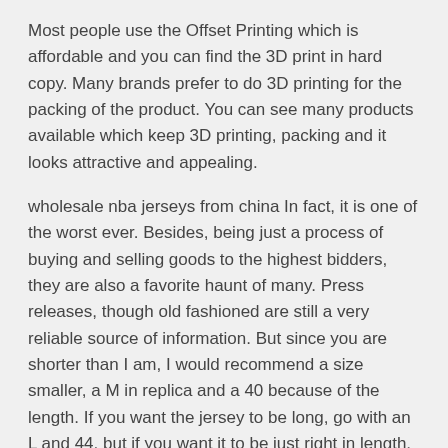Most people use the Offset Printing which is affordable and you can find the 3D print in hard copy. Many brands prefer to do 3D printing for the packing of the product. You can see many products available which keep 3D printing, packing and it looks attractive and appealing.
wholesale nba jerseys from china In fact, it is one of the worst ever. Besides, being just a process of buying and selling goods to the highest bidders, they are also a favorite haunt of many. Press releases, though old fashioned are still a very reliable source of information. But since you are shorter than I am, I would recommend a size smaller, a M in replica and a 40 because of the length. If you want the jersey to be long, go with an L and 44, but if you want it to be just right in length, I would go with a Medium in replica and a 40 cheap jerseys nba in authentic. SportsK also has a section for sizing information. wholesale nba jerseys from china